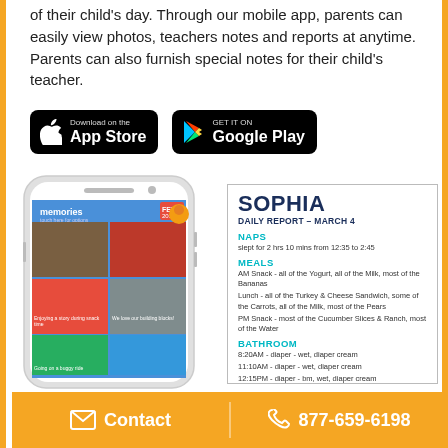of their child's day. Through our mobile app, parents can easily view photos, teachers notes and reports at anytime. Parents can also furnish special notes for their child's teacher.
[Figure (screenshot): App Store and Google Play download buttons on black backgrounds]
[Figure (screenshot): Smartphone showing a child care app with photo memories grid, alongside a daily report card for SOPHIA dated MARCH 4 showing NAPS (slept for 2 hrs 10 mins from 12:35 to 2:45), MEALS (AM Snack, Lunch, PM Snack details), and BATHROOM entries]
Contact   877-659-6198